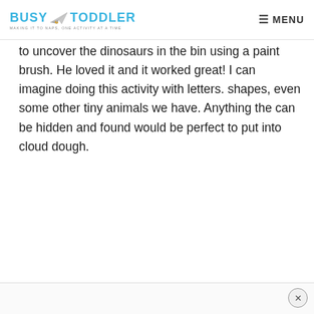BUSY TODDLER — MAKING IT TO NAPS, ONE ACTIVITY AT A TIME | MENU
to uncover the dinosaurs in the bin using a paint brush. He loved it and it worked great! I can imagine doing this activity with letters. shapes, even some other tiny animals we have. Anything the can be hidden and found would be perfect to put into cloud dough.